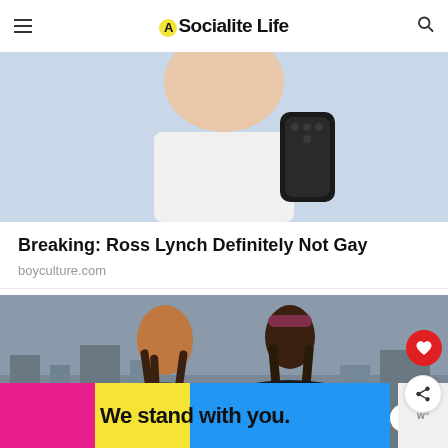Socialite Life
[Figure (photo): Photo of a young man (Ross Lynch) holding a smartphone, cropped to show neck and lower face, on a light blue background.]
Breaking: Ross Lynch Definitely Not Gay
boyculture.com
[Figure (photo): Photo of two people with long hair wearing leather jackets, standing on a rooftop with a cityscape behind them.]
[Figure (infographic): Advertisement banner reading 'We stand with you.' with pink, yellow, and blue background sections, and a close button.]